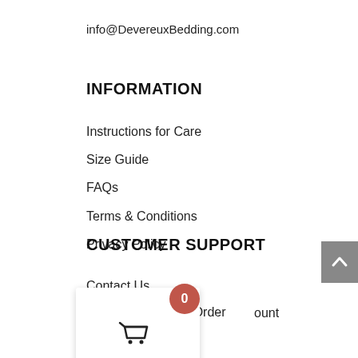info@DevereuxBedding.com
INFORMATION
Instructions for Care
Size Guide
FAQs
Terms & Conditions
Privacy Policy
CUSTOMER SUPPORT
Contact Us
Track your Order
My Account
[Figure (other): Shopping cart popup overlay with badge showing 0 items and basket icon]
[Figure (other): Social media icons: Twitter bird, Instagram camera, Facebook f]